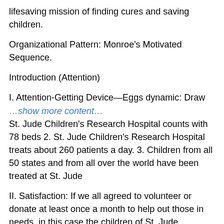lifesaving mission of finding cures and saving children.
Organizational Pattern: Monroe's Motivated Sequence.
Introduction (Attention)
I. Attention-Getting Device—Eggs dynamic: Draw …show more content…
St. Jude Children's Research Hospital counts with 78 beds 2. St. Jude Children's Research Hospital treats about 260 patients a day. 3. Children from all 50 states and from all over the world have been treated at St. Jude
II. Satisfaction: If we all agreed to volunteer or donate at least once a month to help out those in needs, in this case the children of St. Jude Children's Research Hospital many of the problems could be alleviated.
1. With the total cost of childhood cancer exceeding many